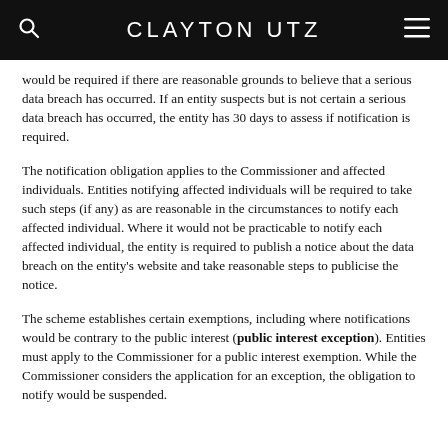CLAYTON UTZ
would be required if there are reasonable grounds to believe that a serious data breach has occurred.  If an entity suspects but is not certain a serious data breach has occurred, the entity has 30 days to assess if notification is required.
The notification obligation applies to the Commissioner and affected individuals.  Entities notifying affected individuals will be required to take such steps (if any) as are reasonable in the circumstances to notify each affected individual.  Where it would not be practicable to notify each affected individual, the entity is required to publish a notice about the data breach on the entity's website and take reasonable steps to publicise the notice.
The scheme establishes certain exemptions, including where notifications would be contrary to the public interest (public interest exception).  Entities must apply to the Commissioner for a public interest exemption.  While the Commissioner considers the application for an exception, the obligation to notify would be suspended.